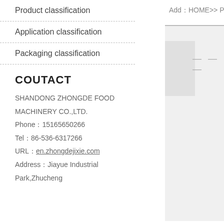Product classification
Application classification
Packaging classification
COUTACT
SHANDONG ZHONGDE FOOD MACHINERY CO.,LTD.
Phone：15165650266
Tel：86-536-6317266
URL：en.zhongdejixie.com
Address：Jiayue Industrial Park,Zhucheng
Add：HOME>> Product